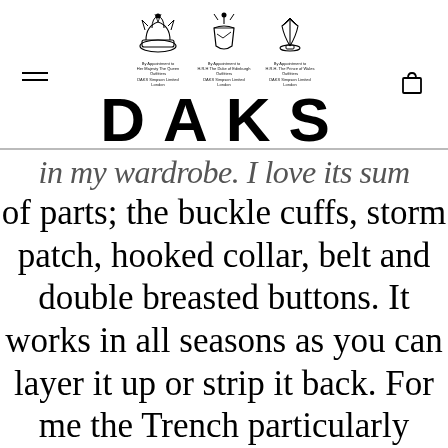DAKS logo with three royal warrant crests
in my wardrobe. I love its sum of parts; the buckle cuffs, storm patch, hooked collar, belt and double breasted buttons. It works in all seasons as you can layer it up or strip it back. For me the Trench particularly shines in Autumn when we are